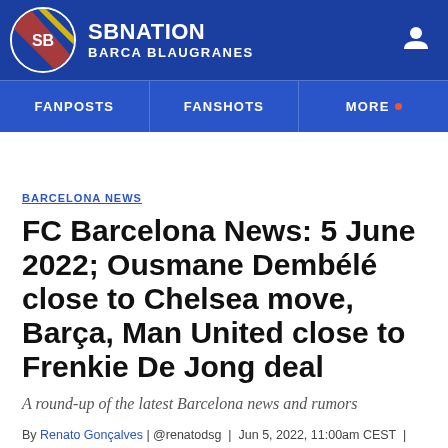SBNATION BARCA BLAUGRANES
BARCELONA NEWS
FC Barcelona News: 5 June 2022; Ousmane Dembélé close to Chelsea move, Barça, Man United close to Frenkie De Jong deal
A round-up of the latest Barcelona news and rumors
By Renato Gonçalves | @renatodsg | Jun 5, 2022, 11:00am CEST |